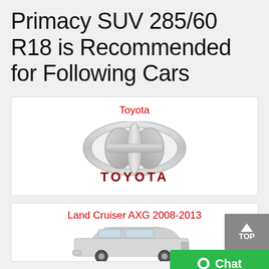Primacy SUV 285/60 R18 is Recommended for Following Cars
Toyota
[Figure (logo): Toyota brand logo: silver circular oval emblem with TOYOTA text in dark red bold capitals below]
Land Cruiser AXG 2008-2013
[Figure (photo): Toyota Land Cruiser AXG 2008-2013, silver SUV, front three-quarter view]